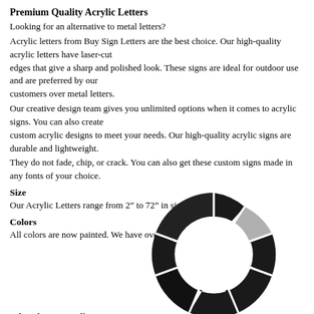Premium Quality Acrylic Letters
Looking for an alternative to metal letters?
Acrylic letters from Buy Sign Letters are the best choice. Our high-quality acrylic letters have laser-cut edges that give a sharp and polished look. These signs are ideal for outdoor use and are preferred by our customers over metal letters.
Our creative design team gives you unlimited options when it comes to acrylic signs. You can also create custom acrylic designs to meet your needs. Our high-quality acrylic signs are durable and lightweight.
They do not fade, chip, or crack. You can also get these custom signs made in any fonts of your choice.
Size
Our Acrylic Letters range from 2” to 72” in size.
Colors
All colors are now painted. We have over a 100 colors to choose from.
[Figure (donut-chart): Donut chart showing color segments in black and light gray]
Why Choose Acrylic Letters?
People prefer acrylic letters as they are the best outdoor material for signs. They are affordable and durable and can be cut in any size or shape of your choice. You can get them cut in any font style. You